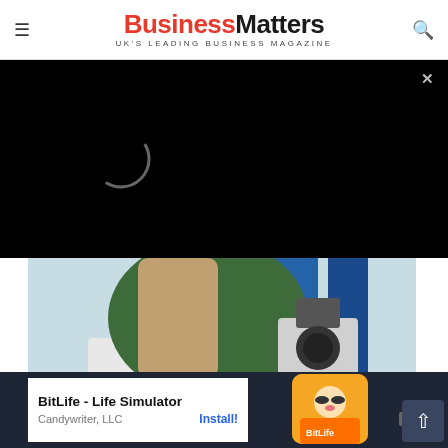Business Matters — UK'S LEADING BUSINESS MAGAZINE
[Figure (photo): Black video player overlay with spinner/loading circle and close X button]
[Figure (photo): Woman in green hijab and white lab coat looking into a microscope in a science laboratory with blue equipment in the background]
Northrop Grumman Technician/Operational Staff Jobs in Ashburn Apply Now
jobble.com
[Figure (logo): Outbrain logo]
[Figure (screenshot): Bottom ad banner: BitLife - Life Simulator by Candywriter, LLC with Install button and game character image, Ad badge]